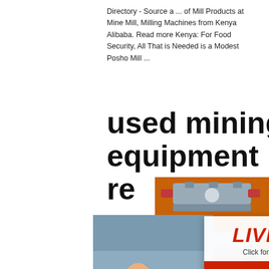Directory - Source a ... of Mill Products at Mine Mill, Milling Machines from Kenya Alibaba. Read more Kenya: For Food Security, All That is Needed is a Modest Posho Mill ...
used mining equipment re
[Figure (photo): Live chat popup overlay with workers in yellow hard hats, 'LIVE CHAT' heading in red italic text, 'Click for a Free Consultation' subtitle, and Chat now / Chat later buttons]
Used 2018 car import kenya requirements vehicles than 8 years of manufacture can be imported vehicles have to be right hand drive both roro and container shipping services accepted the insp vehicles need to be done by.
[Figure (infographic): Orange sidebar with mining machinery images, Enjoy 3% discount yellow banner, Click to Chat orange button, Enquiry section, and limingjlmofen@sina.com email]
Mining Accessories